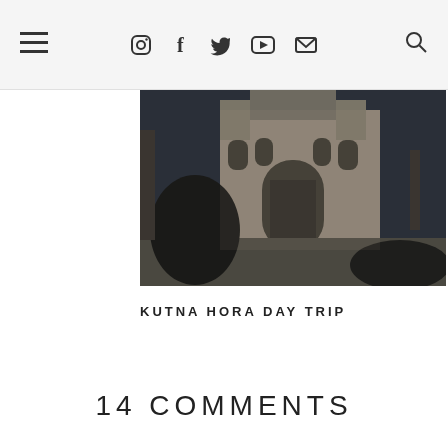≡  [instagram] [facebook] [twitter] [youtube] [email]  [search]
[Figure (photo): A person sitting on a wall in front of a large Gothic cathedral (likely St. Barbara's Cathedral in Kutná Hora, Czech Republic). The person is wearing a dark jacket. The cathedral facade with its pointed arches and towers is visible in the background. The scene appears to be taken in autumn or winter.]
KUTNA HORA DAY TRIP
14 COMMENTS